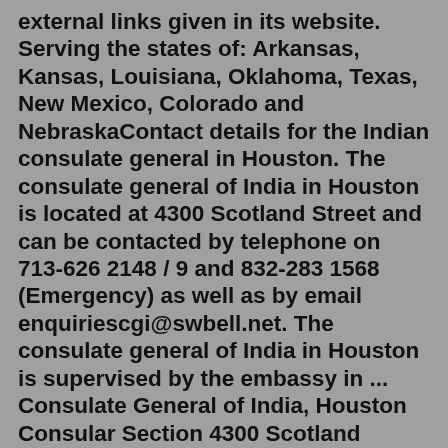external links given in its website. Serving the states of: Arkansas, Kansas, Louisiana, Oklahoma, Texas, New Mexico, Colorado and NebraskaContact details for the Indian consulate general in Houston. The consulate general of India in Houston is located at 4300 Scotland Street and can be contacted by telephone on 713-626 2148 / 9 and 832-283 1568 (Emergency) as well as by email enquiriescgi@swbell.net. The consulate general of India in Houston is supervised by the embassy in ... Consulate General of India, Houston Consular Section 4300 Scotland Street Houston, TX 77007. Phone: (713) 626-2148 Fax: (713) 627-2034 Emergency: (713) 626-2149 ... Consular Camps: This Consulate routinely organizes the camps where people can avail their passport and visa services.Consulate General of India, Houston 4300 Scotland Street, Houston, TX 77007 Phone No. 713-626-2148/9. Fax: 713-626-2450We are committed to making our story about you and your successful